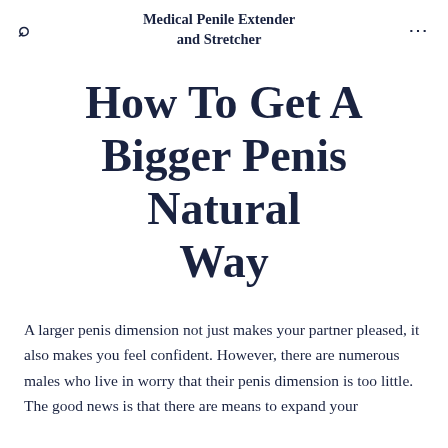Medical Penile Extender and Stretcher
How To Get A Bigger Penis Natural Way
A larger penis dimension not just makes your partner pleased, it also makes you feel confident. However, there are numerous males who live in worry that their penis dimension is too little. The good news is that there are means to expand your